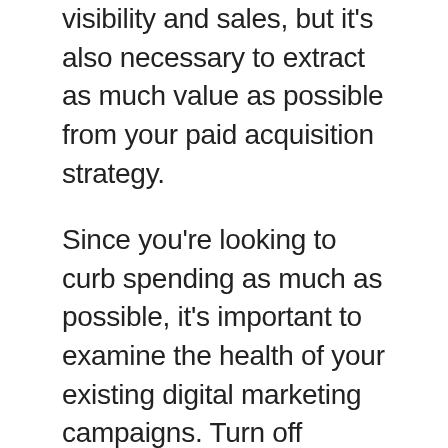visibility and sales, but it's also necessary to extract as much value as possible from your paid acquisition strategy.
Since you're looking to curb spending as much as possible, it's important to examine the health of your existing digital marketing campaigns. Turn off underperforming campaigns and reallocate those resources to campaigns with the highest return on investment.
Consider using retargeting campaigns as they focus on customers that have already transacted with you in the past and, hence, are familiar with your brand...